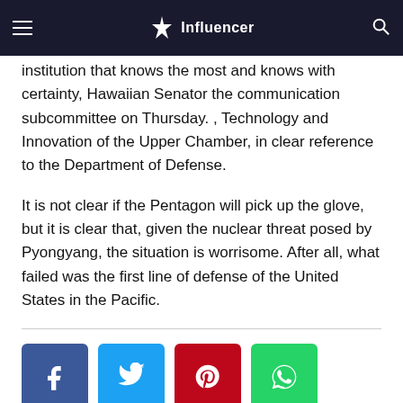Influencer
institution that knows the most and knows with certainty, Hawaiian Senator the communication subcommittee on Thursday. , Technology and Innovation of the Upper Chamber, in clear reference to the Department of Defense.
It is not clear if the Pentagon will pick up the glove, but it is clear that, given the nuclear threat posed by Pyongyang, the situation is worrisome. After all, what failed was the first line of defense of the United States in the Pacific.
[Figure (infographic): Social sharing buttons: Facebook (blue), Twitter (cyan), Pinterest (red), WhatsApp (green)]